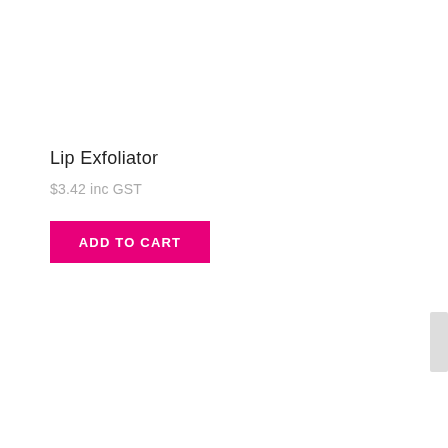Lip Exfoliator
$3.42 inc GST
ADD TO CART